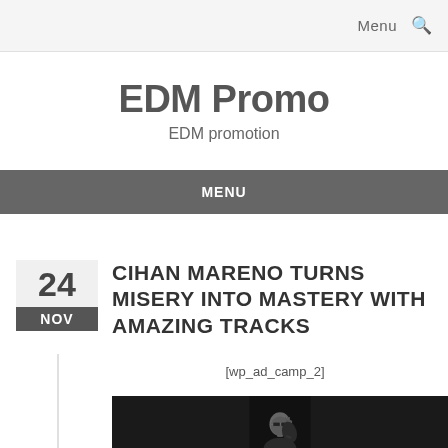Menu 🔍
EDM Promo
EDM promotion
MENU
CIHAN MARENO TURNS MISERY INTO MASTERY WITH AMAZING TRACKS
[wp_ad_camp_2]
[Figure (photo): Black and white photo of a bald man wearing sunglasses, touching his sunglasses with his hand. Dark background.]